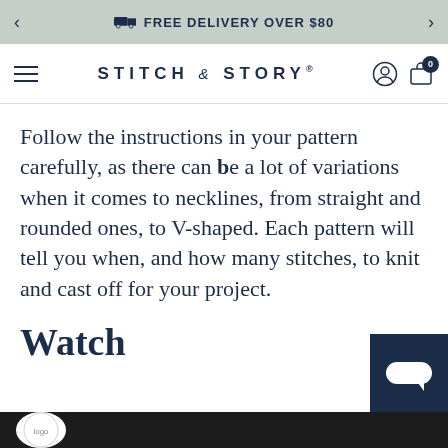FREE DELIVERY OVER $80
STITCH & STORY®
Follow the instructions in your pattern carefully, as there can be a lot of variations when it comes to necklines, from straight and rounded ones, to V-shaped. Each pattern will tell you when, and how many stitches, to knit and cast off for your project.
Watch
[Figure (screenshot): Video thumbnail strip at the bottom of the page showing a partial video preview with a circular logo on the left]